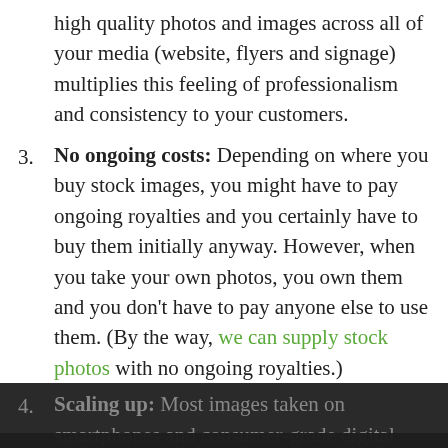high quality photos and images across all of your media (website, flyers and signage) multiplies this feeling of professionalism and consistency to your customers.
No ongoing costs: Depending on where you buy stock images, you might have to pay ongoing royalties and you certainly have to buy them initially anyway. However, when you take your own photos, you own them and you don't have to pay anyone else to use them. (By the way, we can supply stock photos with no ongoing royalties.)
Scaling up: Most images taken on smartphones and consumer-grade digital cameras won't be suitable size/resolution to reproduce at large sizes, such as on building signage or pull-up banners. It's
This site uses cookies. By continuing to browse the site, you are agreeing to our use of cookies.